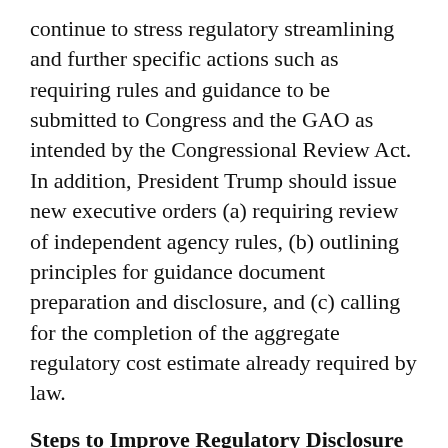continue to stress regulatory streamlining and further specific actions such as requiring rules and guidance to be submitted to Congress and the GAO as intended by the Congressional Review Act. In addition, President Trump should issue new executive orders (a) requiring review of independent agency rules, (b) outlining principles for guidance document preparation and disclosure, and (c) calling for the completion of the aggregate regulatory cost estimate already required by law.
Steps to Improve Regulatory Disclosure
Certainly, some regulations’ benefits exceed costs under the parameters of guidance to agencies such as OMB Circular A-4,[i] but net benefits or even actual costs are not subject to